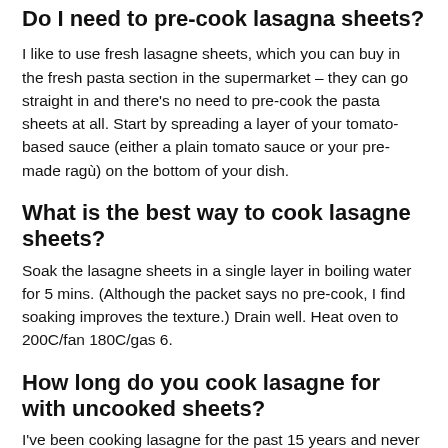Do I need to pre-cook lasagna sheets?
I like to use fresh lasagne sheets, which you can buy in the fresh pasta section in the supermarket – they can go straight in and there's no need to pre-cook the pasta sheets at all. Start by spreading a layer of your tomato-based sauce (either a plain tomato sauce or your pre-made ragù) on the bottom of your dish.
What is the best way to cook lasagne sheets?
Soak the lasagne sheets in a single layer in boiling water for 5 mins. (Although the packet says no pre-cook, I find soaking improves the texture.) Drain well. Heat oven to 200C/fan 180C/gas 6.
How long do you cook lasagne for with uncooked sheets?
I've been cooking lasagne for the past 15 years and never had a problem with instant sheets. I use meat sauce, cheese